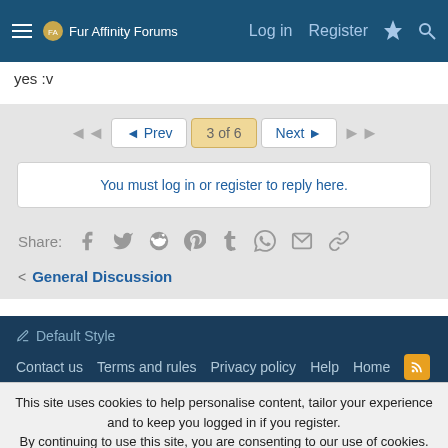Fur Affinity Forums | Log in | Register
yes :v
◄◄  ◄ Prev  3 of 6  Next ►  ►►
You must log in or register to reply here.
Share: Facebook Twitter Reddit Pinterest Tumblr WhatsApp Email Link
< General Discussion
Default Style | Contact us | Terms and rules | Privacy policy | Help | Home | Community platform by XenForo® © 2010-2021 XenForo Ltd.
This site uses cookies to help personalise content, tailor your experience and to keep you logged in if you register. By continuing to use this site, you are consenting to our use of cookies. Accept | Learn more...